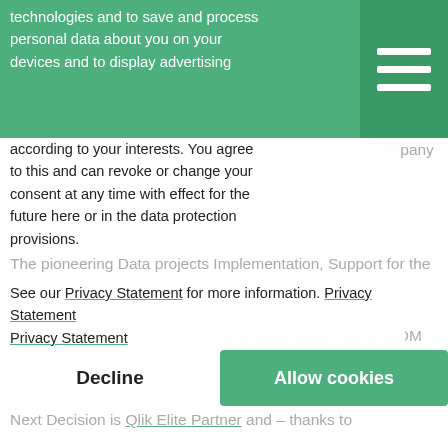Header bar with logo and hamburger menu
technologies and to save and process personal data about you on your devices and to display advertising according to your interests. You agree to this and can revoke or change your consent at any time with effect for the future here or in the data protection provisions.
partnership with Next Decision, a French Consulting company specialising in Business Intelligence & Big Data.
The pioneering Data projects Implementation, Support for the acquisition of licences, Training and Support for change. Furthermore, they have expertise in Organisation like IS urbanization, Project Management, Data Governance, MDM and Digitization of Business Processes, Human Resources Management, Budgeting and Business Apps.
See our Privacy Statement for more information. Privacy Statement
Privacy Statement
Next Decision is Qlik Elite Partner and – thanks to